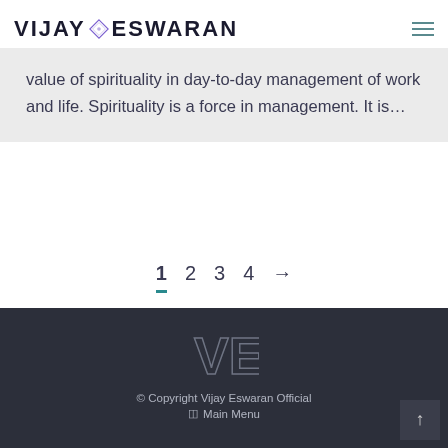VIJAY ESWARAN
value of spirituality in day-to-day management of work and life. Spirituality is a force in management. It is…
1 2 3 4 →
[Figure (logo): VE monogram logo in teal/grey on dark background]
© Copyright Vijay Eswaran Official  Main Menu